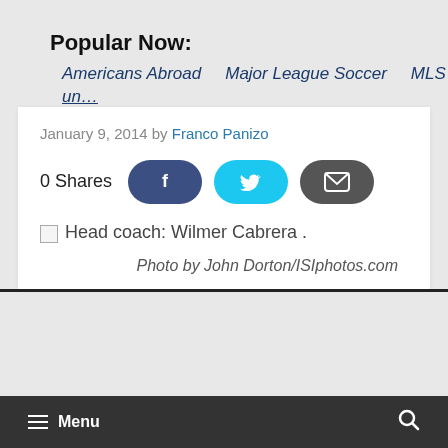Popular Now:
Americans Abroad   Major League Soccer   MLS
January 9, 2014 by Franco Panizo
0 Shares
[Figure (screenshot): Broken image placeholder with caption: Head coach: Wilmer Cabrera .]
Photo by John Dorton/ISIphotos.com
Menu